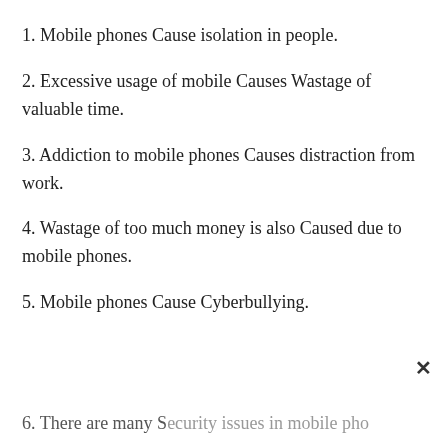1. Mobile phones Cause isolation in people.
2. Excessive usage of mobile Causes Wastage of valuable time.
3. Addiction to mobile phones Causes distraction from work.
4. Wastage of too much money is also Caused due to mobile phones.
5. Mobile phones Cause Cyberbullying.
6. There are many Security issues in mobile phones.